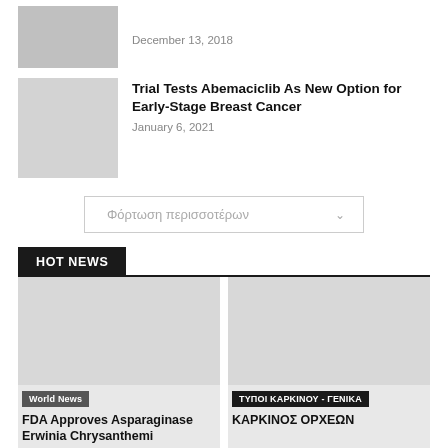[Figure (photo): Thumbnail photo of a person's face (grayscale)]
December 13, 2018
[Figure (photo): Thumbnail photo of pills/medication (grayscale)]
Trial Tests Abemaciclib As New Option for Early-Stage Breast Cancer
January 6, 2021
Φόρτωση περισσοτέρων
HOT NEWS
[Figure (photo): Hot news card image (light gray placeholder)]
World News
FDA Approves Asparaginase Erwinia Chrysanthemi
[Figure (photo): Hot news card image right (light gray placeholder)]
ΤΥΠΟΙ ΚΑΡΚΙΝΟΥ - ΓΕΝΙΚΑ
ΚΑΡΚΙΝΟΣ ΟΡΧΕΩΝ